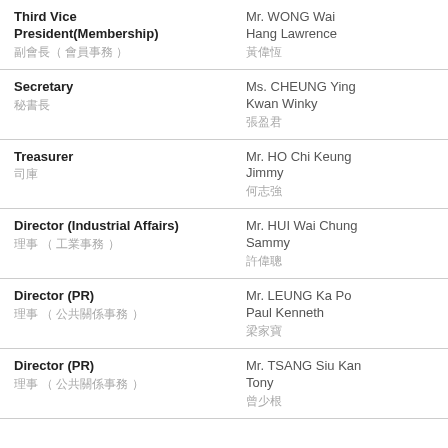| Role | Name |
| --- | --- |
| Third Vice President(Membership)
副會長（會員事務） | Mr. WONG Wai Hang Lawrence
黃偉恆 |
| Secretary
秘書 | Ms. CHEUNG Ying Kwan Winky
張盈君 |
| Treasurer
司庫 | Mr. HO Chi Keung Jimmy
何志強 |
| Director (Industrial Affairs)
理事（工業事務） | Mr. HUI Wai Chung Sammy
許偉聰 |
| Director (PR)
理事（公共關係事務） | Mr. LEUNG Ka Po Paul Kenneth
梁家寶 |
| Director (PR)
理事（公共關係事務） | Mr. TSANG Siu Kan Tony
曾少根 |